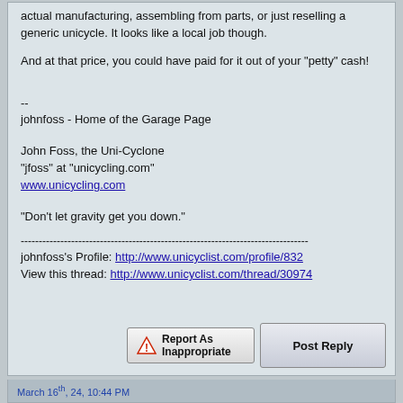actual manufacturing, assembling from parts, or just reselling a generic unicycle. It looks like a local job though.
And at that price, you could have paid for it out of your "petty" cash!
--
johnfoss - Home of the Garage Page
John Foss, the Uni-Cyclone
"jfoss" at "unicycling.com"
www.unicycling.com
"Don't let gravity get you down."
--------------------------------------------------------------------------------
johnfoss's Profile: http://www.unicyclist.com/profile/832
View this thread: http://www.unicyclist.com/thread/30974